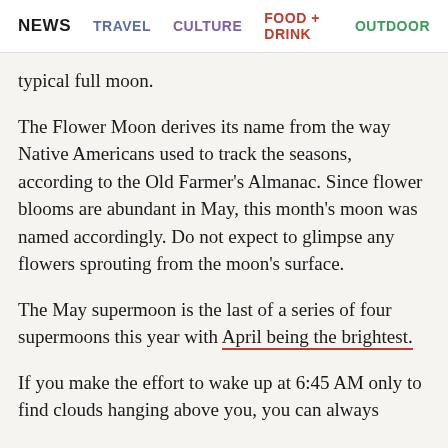NEWS  TRAVEL  CULTURE  FOOD + DRINK  OUTDOOR
typical full moon.
The Flower Moon derives its name from the way Native Americans used to track the seasons, according to the Old Farmer's Almanac. Since flower blooms are abundant in May, this month's moon was named accordingly. Do not expect to glimpse any flowers sprouting from the moon's surface.
The May supermoon is the last of a series of four supermoons this year with April being the brightest.
If you make the effort to wake up at 6:45 AM only to find clouds hanging above you, you can always check out the Virtual Telescope Project, which will